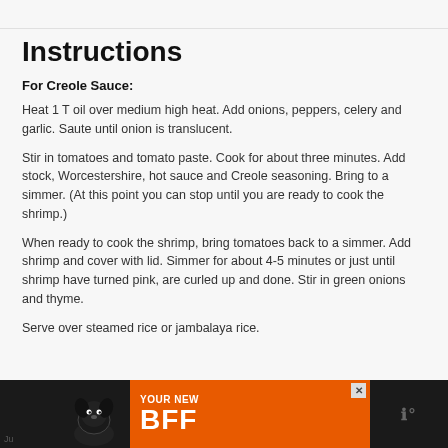Instructions
For Creole Sauce:
Heat 1 T oil over medium high heat. Add onions, peppers, celery and garlic. Saute until onion is translucent.
Stir in tomatoes and tomato paste. Cook for about three minutes. Add stock, Worcestershire, hot sauce and Creole seasoning. Bring to a simmer. (At this point you can stop until you are ready to cook the shrimp.)
When ready to cook the shrimp, bring tomatoes back to a simmer. Add shrimp and cover with lid. Simmer for about 4-5 minutes or just until shrimp have turned pink, are curled up and done. Stir in green onions and thyme.
Serve over steamed rice or jambalaya rice.
[Figure (other): Advertisement banner with orange background showing a dog and text 'YOUR NEW BFF']